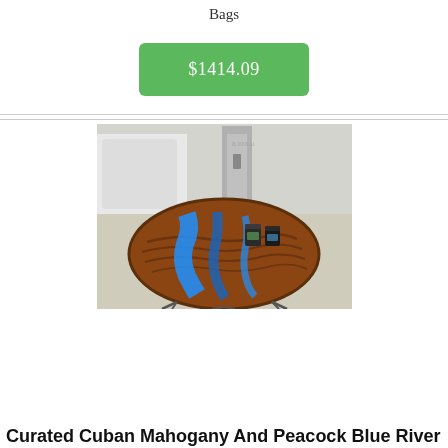Bags
$1414.09
[Figure (photo): A round wooden coffee table with blue epoxy resin river inlay, on hairpin legs, with two small jars on top, placed next to a white sofa on a concrete floor.]
Curated Cuban Mahogany And Peacock Blue River